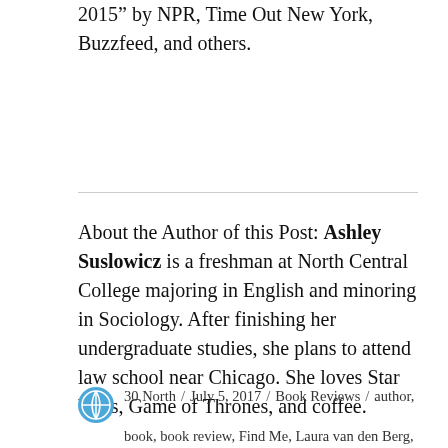2015" by NPR, Time Out New York, Buzzfeed, and others.
About the Author of this Post: Ashley Suslowicz is a freshman at North Central College majoring in English and minoring in Sociology. After finishing her undergraduate studies, she plans to attend law school near Chicago. She loves Star Wars, Game of Thrones, and coffee.
30 North / July 5, 2017 / Book Reviews / author, book, book review, Find Me, Laura van den Berg, novel